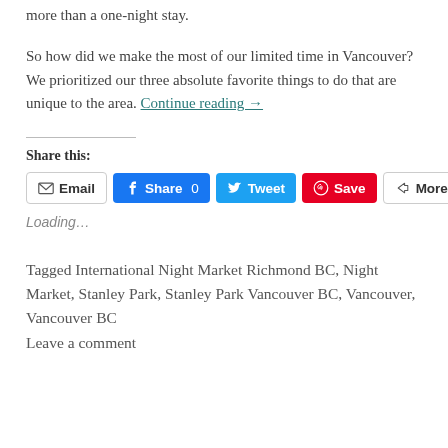more than a one-night stay.
So how did we make the most of our limited time in Vancouver? We prioritized our three absolute favorite things to do that are unique to the area. Continue reading →
Share this:
[Figure (other): Social share buttons: Email, Share 0 (Facebook), Tweet (Twitter), Save (Pinterest), More]
Loading...
Tagged International Night Market Richmond BC, Night Market, Stanley Park, Stanley Park Vancouver BC, Vancouver, Vancouver BC
Leave a comment